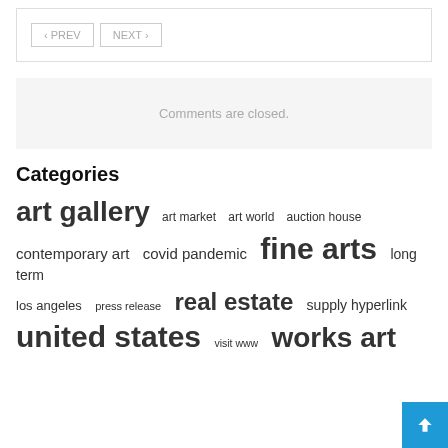‹ PREV   NEXT ›
Comments are closed.
Categories
art gallery  art market  art world  auction house  contemporary art  covid pandemic  fine arts  long term  los angeles  press release  real estate  supply hyperlink  united states  visit www  works art